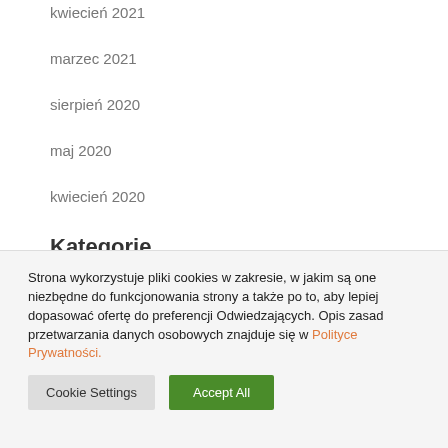kwiecień 2021
marzec 2021
sierpień 2020
maj 2020
kwiecień 2020
Kategorie
Bez kategorii
Podcast
Strona wykorzystuje pliki cookies w zakresie, w jakim są one niezbędne do funkcjonowania strony a także po to, aby lepiej dopasować ofertę do preferencji Odwiedzających. Opis zasad przetwarzania danych osobowych znajduje się w Polityce Prywatności.